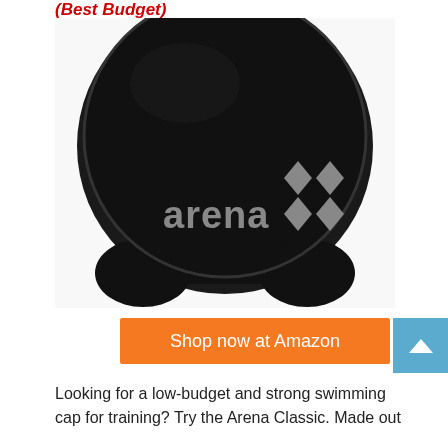(Best Budget)
[Figure (photo): Black Arena Classic silicone swimming cap with gray 'arena' logo and diamond logo on black background]
Shop now at Amazon
Looking for a low-budget and strong swimming cap for training? Try the Arena Classic. Made out